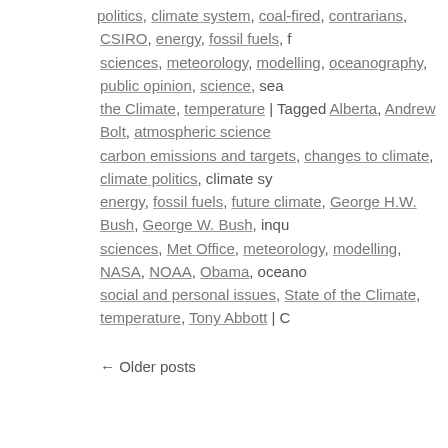politics, climate system, coal-fired, contrarians, CSIRO, energy, fossil fuels, f… sciences, meteorology, modelling, oceanography, public opinion, science, sea… the Climate, temperature | Tagged Alberta, Andrew Bolt, atmospheric science… carbon emissions and targets, changes to climate, climate politics, climate sy… energy, fossil fuels, future climate, George H.W. Bush, George W. Bush, inqu… sciences, Met Office, meteorology, modelling, NASA, NOAA, Obama, oceano… social and personal issues, State of the Climate, temperature, Tony Abbott | C…
← Older posts